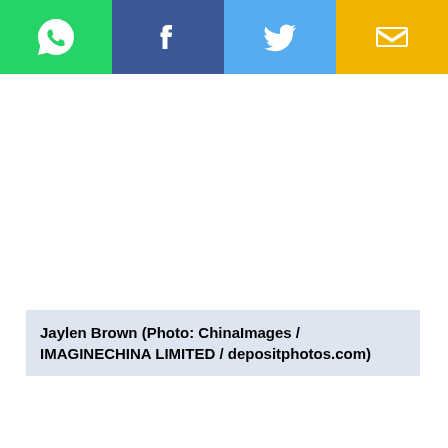[Figure (infographic): Social share buttons bar: WhatsApp (green), Facebook (blue), Twitter (light blue), Email (yellow), each with white icons]
Jaylen Brown (Photo: ChinaImages / IMAGINECHINA LIMITED / depositphotos.com)